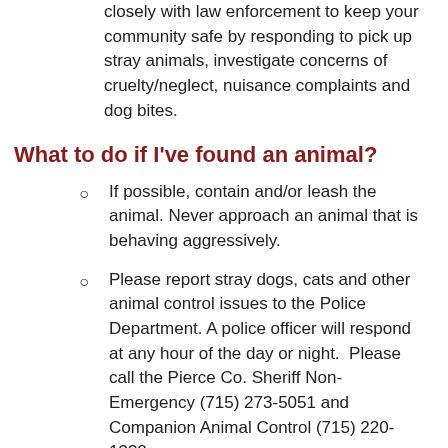closely with law enforcement to keep your community safe by responding to pick up stray animals, investigate concerns of cruelty/neglect, nuisance complaints and dog bites.
What to do if I've found an animal?
If possible, contain and/or leash the animal. Never approach an animal that is behaving aggressively.
Please report stray dogs, cats and other animal control issues to the Police Department. A police officer will respond at any hour of the day or night.  Please call the Pierce Co. Sheriff Non-Emergency (715) 273-5051 and Companion Animal Control (715) 220-1332.
or dial 715-262-5512 when the Police Department business office is open (Monday through Friday, 8 a.m. - 4:30 p.m., except for legal holidays).
Companion Animal Control will respond to pick